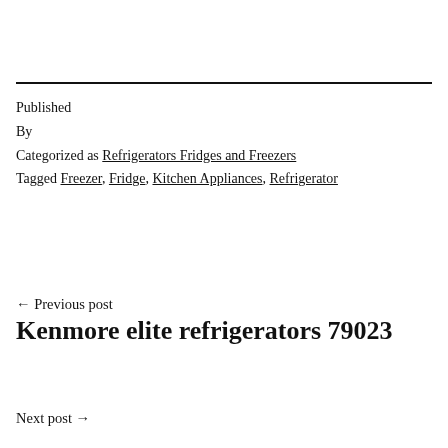Published
By
Categorized as Refrigerators Fridges and Freezers
Tagged Freezer, Fridge, Kitchen Appliances, Refrigerator
← Previous post
Kenmore elite refrigerators 79023
Next post →